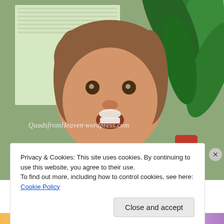[Figure (photo): A toddler with food on their face wearing a light yellow bib that reads 'I'm a', sitting in a red chair with a plant and window blinds in the background. A watermark reads 'QuadsfromHeaven.wordpress.com'.]
Privacy & Cookies: This site uses cookies. By continuing to use this website, you agree to their use.
To find out more, including how to control cookies, see here: Cookie Policy
Close and accept